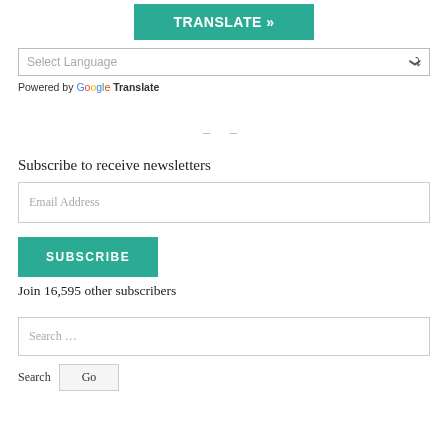[Figure (screenshot): TRANSLATE button in teal/green color]
[Figure (screenshot): Select Language dropdown widget]
Powered by Google Translate
– –
Subscribe to receive newsletters
[Figure (screenshot): Email Address input field]
[Figure (screenshot): SUBSCRIBE button in teal/green color]
Join 16,595 other subscribers
[Figure (screenshot): Search ... input field]
[Figure (screenshot): Search Go button row]